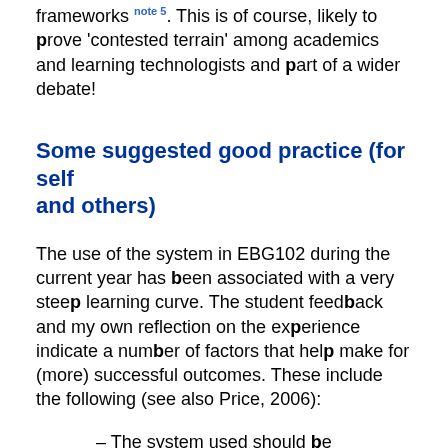frameworks note 5. This is of course, likely to prove 'contested terrain' among academics and learning technologists and part of a wider debate!
Some suggested good practice (for self and others)
The use of the system in EBG102 during the current year has been associated with a very steep learning curve. The student feedback and my own reflection on the experience indicate a number of factors that help make for (more) successful outcomes. These include the following (see also Price, 2006):
– The system used should be introduced in a lecture with numerous screen grabs etc. Introductory documentation on how to use